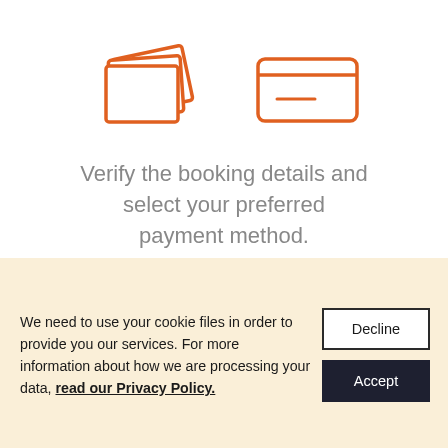[Figure (illustration): Two orange outline icons: stacked documents/papers on the left and a credit card on the right]
Verify the booking details and select your preferred payment method.
[Figure (illustration): Orange outline illustration of a car with speed lines on the left, partially cut off at the bottom]
We need to use your cookie files in order to provide you our services. For more information about how we are processing your data, read our Privacy Policy.